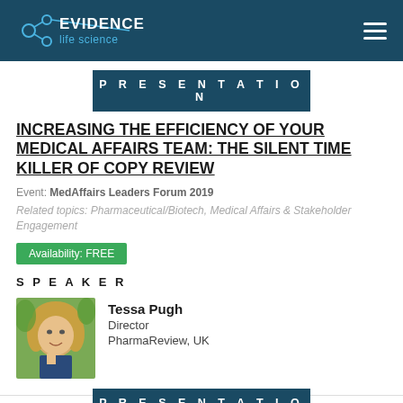EVIDENCE life science
PRESENTATION
INCREASING THE EFFICIENCY OF YOUR MEDICAL AFFAIRS TEAM: THE SILENT TIME KILLER OF COPY REVIEW
Event: MedAffairs Leaders Forum 2019
Related topics: Pharmaceutical/Biotech, Medical Affairs & Stakeholder Engagement
Availability: FREE
SPEAKER
[Figure (photo): Portrait photo of Tessa Pugh, a woman with blonde hair smiling outdoors]
Tessa Pugh
Director
PharmaReview, UK
PRESENTATION